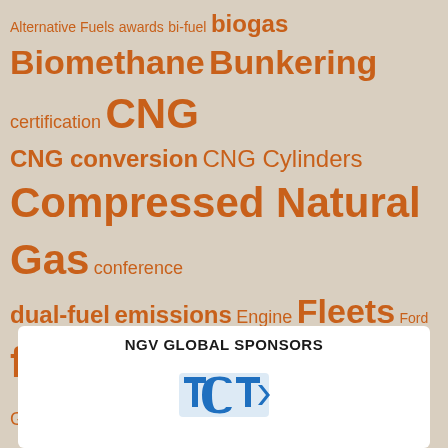[Figure (infographic): Tag cloud of alternative fuel and natural gas vehicle topics in orange text on a tan/beige background. Terms vary in size based on frequency/importance.]
NGV GLOBAL SPONSORS
[Figure (logo): TCT logo in blue at the bottom of the sponsors box]